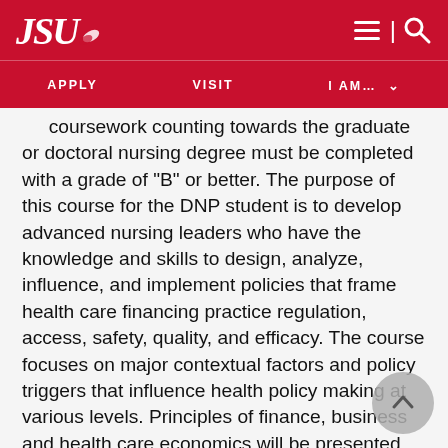JSU — APPLY | VISIT | I AM...
coursework counting towards the graduate or doctoral nursing degree must be completed with a grade of "B" or better. The purpose of this course for the DNP student is to develop advanced nursing leaders who have the knowledge and skills to design, analyze, influence, and implement policies that frame health care financing practice regulation, access, safety, quality, and efficacy. The course focuses on major contextual factors and policy triggers that influence health policy making at various levels. Principles of finance, business and health care economics will be presented. The course emphasis is on developing essential competencies in health care policy advocacy and health care financing. Offered spring